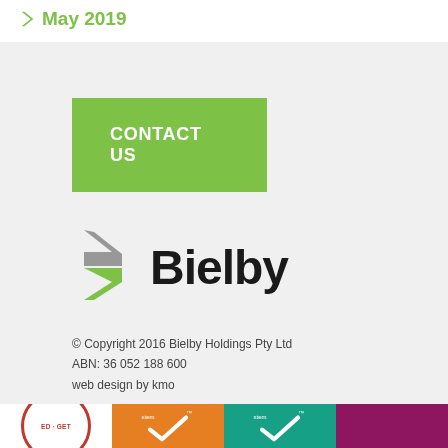May 2019
CONTACT US
[Figure (logo): Bielby company logo with green chevron arrow and bold black text 'Bielby']
© Copyright 2016 Bielby Holdings Pty Ltd
ABN: 36 052 188 600
web design by kmo
[Figure (other): Bottom strip with certification/accreditation badges: red circular badge, orange system check badge, teal system check badge, purple/magenta colored badge]